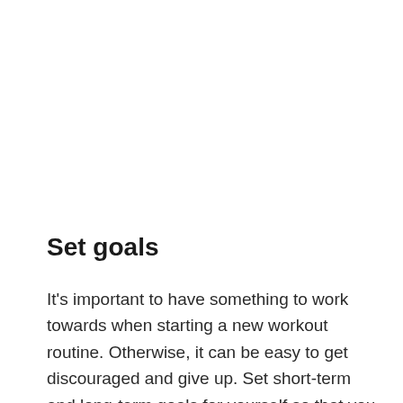Set goals
It's important to have something to work towards when starting a new workout routine. Otherwise, it can be easy to get discouraged and give up. Set short-term and long-term goals for yourself so that you always have something to strive for.